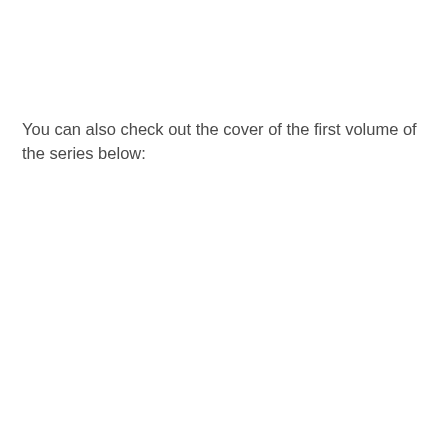You can also check out the cover of the first volume of the series below: